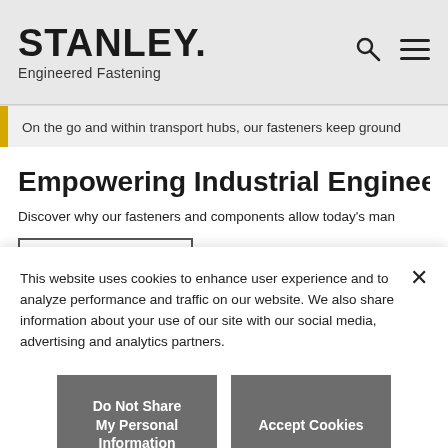STANLEY. Engineered Fastening
On the go and within transport hubs, our fasteners keep ground
Empowering Industrial Engineers to Create
Discover why our fasteners and components allow today's man
This website uses cookies to enhance user experience and to analyze performance and traffic on our website. We also share information about your use of our site with our social media, advertising and analytics partners.
Do Not Share My Personal Information
Accept Cookies